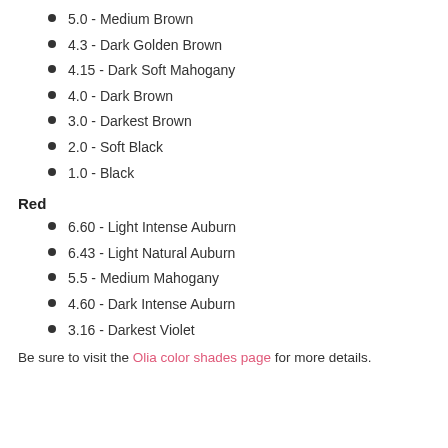5.0 - Medium Brown
4.3 - Dark Golden Brown
4.15 - Dark Soft Mahogany
4.0 - Dark Brown
3.0 - Darkest Brown
2.0 - Soft Black
1.0 - Black
Red
6.60 - Light Intense Auburn
6.43 - Light Natural Auburn
5.5 - Medium Mahogany
4.60 - Dark Intense Auburn
3.16 - Darkest Violet
Be sure to visit the Olia color shades page for more details.